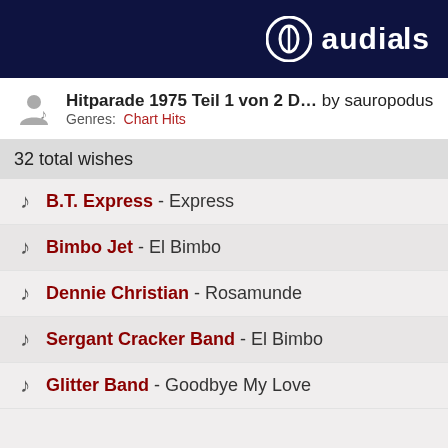audials
Hitparade 1975 Teil 1 von 2 D… by sauropodus
Genres: Chart Hits
32 total wishes
B.T. Express - Express
Bimbo Jet - El Bimbo
Dennie Christian - Rosamunde
Sergant Cracker Band - El Bimbo
Glitter Band - Goodbye My Love